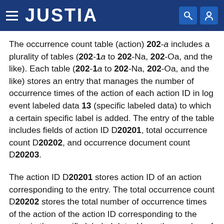JUSTIA
The occurrence count table (action) 202-a includes a plurality of tables (202-1a to 202-Na, 202-Oa, and the like). Each table (202-1a to 202-Na, 202-Oa, and the like) stores an entry that manages the number of occurrence times of the action of each action ID in log event labeled data 13 (specific labeled data) to which a certain specific label is added. The entry of the table includes fields of action ID D20201, total occurrence count D20202, and occurrence document count D20203.
The action ID D20201 stores action ID of an action corresponding to the entry. The total occurrence count D20202 stores the total number of occurrence times of the action of the action ID corresponding to the entry in the specific labeled data. Here, the number of occurrence times includes a plurality of occurrence times when the action occurs the plurality of times in